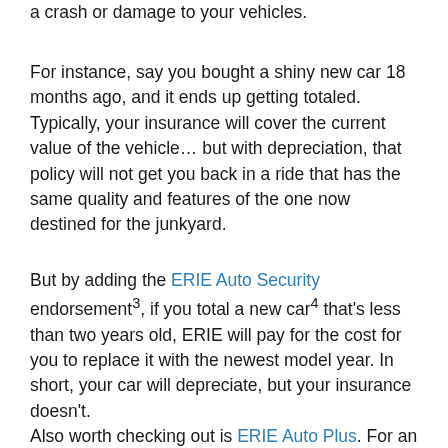ways to get extra layers of protection in the event of a crash or damage to your vehicles.
For instance, say you bought a shiny new car 18 months ago, and it ends up getting totaled. Typically, your insurance will cover the current value of the vehicle… but with depreciation, that policy will not get you back in a ride that has the same quality and features of the one now destined for the junkyard.
But by adding the ERIE Auto Security endorsement3, if you total a new car4 that's less than two years old, ERIE will pay for the cost for you to replace it with the newest model year. In short, your car will depreciate, but your insurance doesn't.
Also worth checking out is ERIE Auto Plus. For an